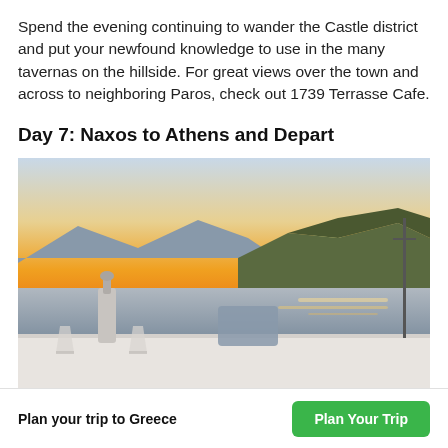Spend the evening continuing to wander the Castle district and put your newfound knowledge to use in the many tavernas on the hillside. For great views over the town and across to neighboring Paros, check out 1739 Terrasse Cafe.
Day 7: Naxos to Athens and Depart
[Figure (photo): Sunset photo from a terrace overlooking water and hills, with a bottle and glasses on the table in the foreground.]
Plan your trip to Greece